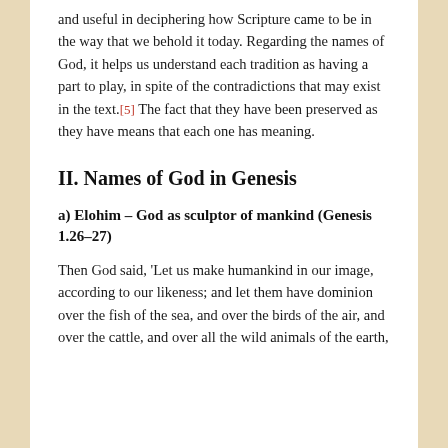and useful in deciphering how Scripture came to be in the way that we behold it today. Regarding the names of God, it helps us understand each tradition as having a part to play, in spite of the contradictions that may exist in the text.[5] The fact that they have been preserved as they have means that each one has meaning.
II. Names of God in Genesis
a) Elohim – God as sculptor of mankind (Genesis 1.26–27)
Then God said, 'Let us make humankind in our image, according to our likeness; and let them have dominion over the fish of the sea, and over the birds of the air, and over the cattle, and over all the wild animals of the earth,